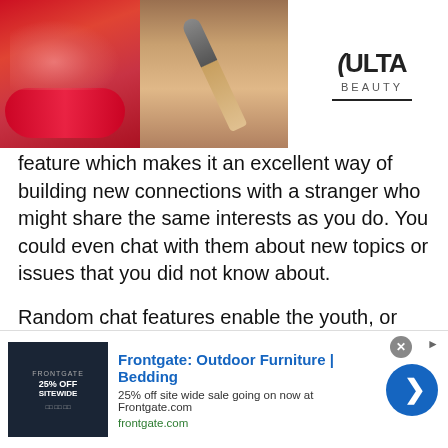[Figure (photo): Ulta Beauty advertisement banner at top showing makeup imagery (lips, brush, eyes) and Ulta logo with SHOP NOW text]
feature which makes it an excellent way of building new connections with a stranger who might share the same interests as you do. You could even chat with them about new topics or issues that you did not know about.
Random chat features enable the youth, or teenagers to join a chatroom and speak with someone of their age, from the same gender or even from opposite genders. Since our site has more than 12000 users daily, you can chat with a diverse range of people.
One of the main benefits of using the site is that it al...
[Figure (screenshot): Frontgate: Outdoor Furniture | Bedding advertisement banner at bottom with 25% off sitewide sale text and frontgate.com URL]